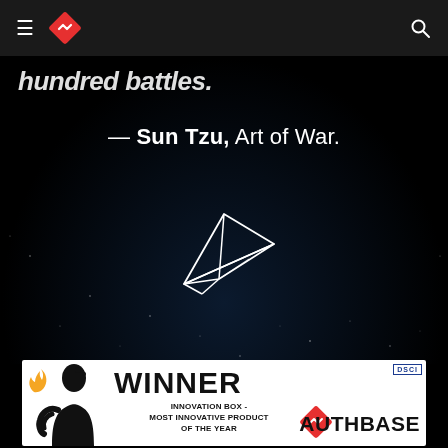Authbase navigation bar with hamburger menu, logo, and search icon
hundred battles.
— Sun Tzu, Art of War.
[Figure (illustration): Paper airplane outline icon in white on dark starfield background]
[Figure (infographic): Award banner: WINNER - INNOVATION BOX - MOST INNOVATIVE PRODUCT OF THE YEAR - AUTHBASE, with DSCI badge, flame logo, and silhouette figure]